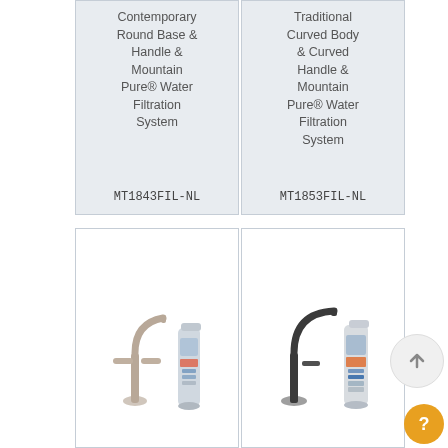Contemporary Round Base & Handle & Mountain Pure® Water Filtration System
MT1843FIL-NL
Traditional Curved Body & Curved Handle & Mountain Pure® Water Filtration System
MT1853FIL-NL
[Figure (photo): A traditional-style two-handle kitchen water filter faucet in brushed nickel finish shown next to a water filtration canister]
[Figure (photo): A contemporary single-handle kitchen water filter faucet in dark/matte finish shown next to a water filtration canister]